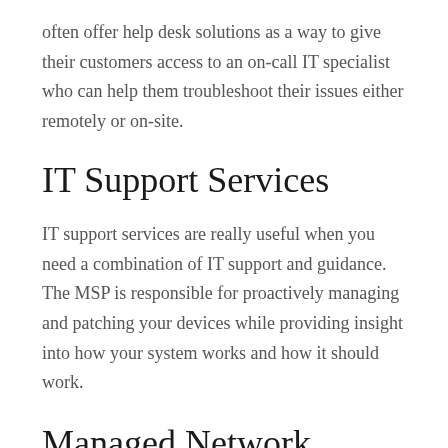often offer help desk solutions as a way to give their customers access to an on-call IT specialist who can help them troubleshoot their issues either remotely or on-site.
IT Support Services
IT support services are really useful when you need a combination of IT support and guidance. The MSP is responsible for proactively managing and patching your devices while providing insight into how your system works and how it should work.
Managed Network Security